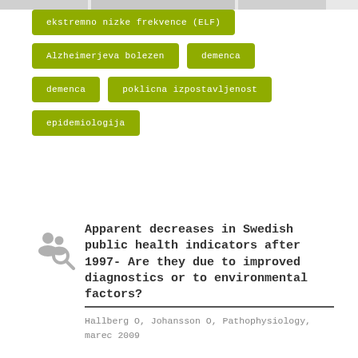ekstremno nizke frekvence (ELF)
Alzheimerjeva bolezen
demenca
demenca
poklicna izpostavljenost
epidemiologija
Apparent decreases in Swedish public health indicators after 1997- Are they due to improved diagnostics or to environmental factors?
Hallberg O, Johansson O, Pathophysiology, marec 2009